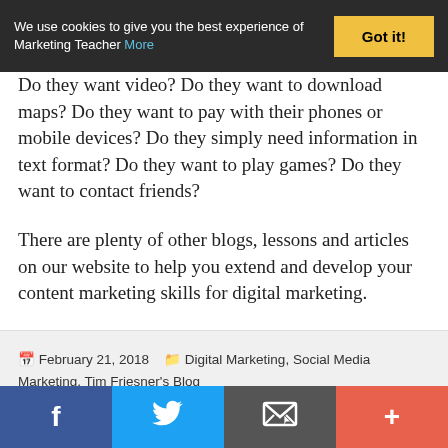We use cookies to give you the best experience of Marketing Teacher More | Got it!
Do they want video? Do they want to download maps? Do they want to pay with their phones or mobile devices? Do they simply need information in text format? Do they want to play games? Do they want to contact friends?
There are plenty of other blogs, lessons and articles on our website to help you extend and develop your content marketing skills for digital marketing.
February 21, 2018   Digital Marketing, Social Media Marketing, Tim Friesner's Blog
f  Twitter  Email  +